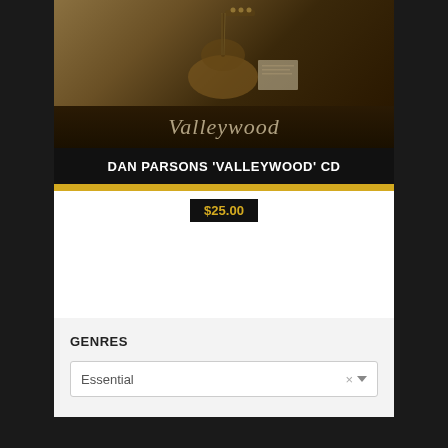[Figure (photo): Album cover photo showing a person playing an acoustic guitar with the word 'Valleywood' written in script at the bottom]
DAN PARSONS 'VALLEYWOOD' CD
$25.00
GENRES
Essential